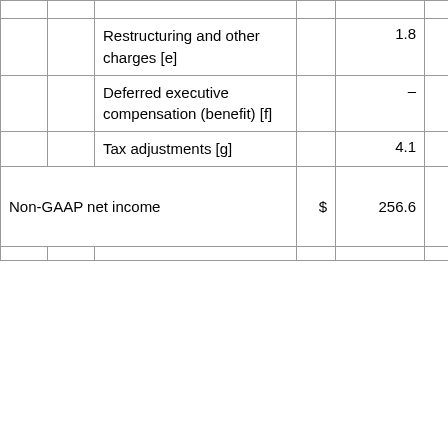|  |  | Description | $ | Value1 |  | $ | Value2 |
| --- | --- | --- | --- | --- | --- | --- | --- |
|  |  | Restructuring and other charges [e] |  | 1.8 |  |  | 1.0 |
|  |  | Deferred executive compensation (benefit) [f] |  | – |  |  | (1.7 |
|  |  | Tax adjustments [g] |  | 4.1 |  |  | (15.4 |
| Non-GAAP net income |  |  | $ | 256.6 |  |  | 30. |